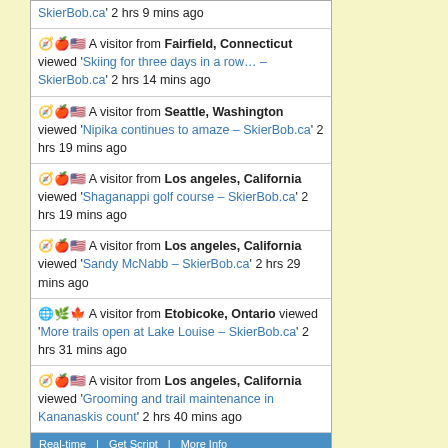SkierBob.ca' 2 hrs 9 mins ago
🧭🍎🇺🇸 A visitor from Fairfield, Connecticut viewed 'Skiing for three days in a row… – SkierBob.ca' 2 hrs 14 mins ago
🧭🍎🇺🇸 A visitor from Seattle, Washington viewed 'Nipika continues to amaze – SkierBob.ca' 2 hrs 19 mins ago
🧭🍎🇺🇸 A visitor from Los angeles, California viewed 'Shaganappi golf course – SkierBob.ca' 2 hrs 19 mins ago
🧭🍎🇺🇸 A visitor from Los angeles, California viewed 'Sandy McNabb – SkierBob.ca' 2 hrs 29 mins ago
🌐🌿🍁 A visitor from Etobicoke, Ontario viewed 'More trails open at Lake Louise – SkierBob.ca' 2 hrs 31 mins ago
🧭🍎🇺🇸 A visitor from Los angeles, California viewed 'Grooming and trail maintenance in Kananaskis count' 2 hrs 40 mins ago
Real-time | Get Script | More Info